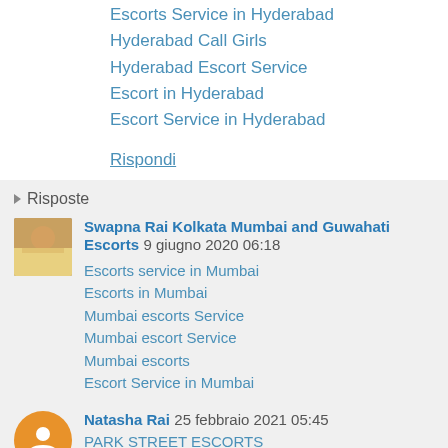Escorts Service in Hyderabad
Hyderabad Call Girls
Hyderabad Escort Service
Escort in Hyderabad
Escort Service in Hyderabad
Rispondi
Risposte
Swapna Rai Kolkata Mumbai and Guwahati Escorts  9 giugno 2020 06:18
Escorts service in Mumbai
Escorts in Mumbai
Mumbai escorts Service
Mumbai escort Service
Mumbai escorts
Escort Service in Mumbai
Natasha Rai  25 febbraio 2021 05:45
PARK STREET ESCORTS